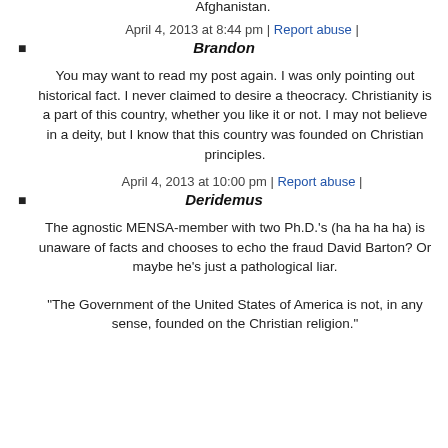Not keeping religion out of government is called a theocracy, Mr. 'Atheist'. If you want a system like that, you can always move to Iran or Afghanistan.
April 4, 2013 at 8:44 pm | Report abuse |
Brandon
You may want to read my post again. I was only pointing out historical fact. I never claimed to desire a theocracy. Christianity is a part of this country, whether you like it or not. I may not believe in a deity, but I know that this country was founded on Christian principles.
April 4, 2013 at 10:00 pm | Report abuse |
Deridemus
The agnostic MENSA-member with two Ph.D.'s (ha ha ha ha) is unaware of facts and chooses to echo the fraud David Barton? Or maybe he's just a pathological liar.
"The Government of the United States of America is not, in any sense, founded on the Christian religion."